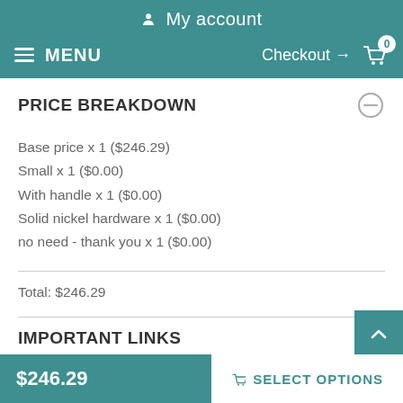My account
MENU  Checkout → 0
PRICE BREAKDOWN
Base price x 1 ($246.29)
Small x 1 ($0.00)
With handle x 1 ($0.00)
Solid nickel hardware x 1 ($0.00)
no need - thank you x 1 ($0.00)
Total: $246.29
IMPORTANT LINKS
$246.29  SELECT OPTIONS